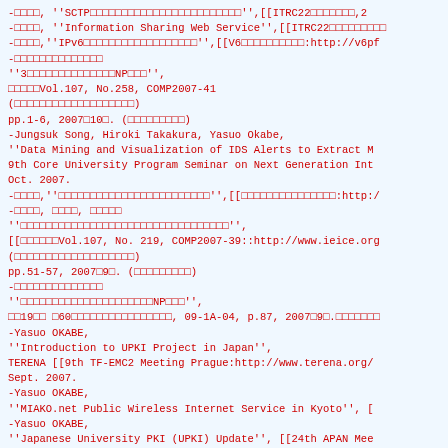-□□□□, ''SCTP□□□□□□□□□□□□□□□□□□□□□□□□'',[[ITRC22□□□□□□□,2
-□□□□, ''Information Sharing Web Service'',[[ITRC22□□□□□□□□□
-□□□□,''IPv6□□□□□□□□□□□□□□□□□□'',[[V6□□□□□□□□□□:http://v6pf
-□□□□□□□□□□□□□□
''3□□□□□□□□□□□□□□NP□□□'',
□□□□□Vol.107, No.258, COMP2007-41
(□□□□□□□□□□□□□□□□□□□)
pp.1-6, 2007□10□. (□□□□□□□□□)
-Jungsuk Song, Hiroki Takakura, Yasuo Okabe,
''Data Mining and Visualization of IDS Alerts to Extract M
9th Core University Program Seminar on Next Generation Int
Oct. 2007.
-□□□□,''□□□□□□□□□□□□□□□□□□□□□□□□'',[[□□□□□□□□□□□□□□□:http:/
-□□□□, □□□□, □□□□□
''□□□□□□□□□□□□□□□□□□□□□□□□□□□□□□□□□'',
[[□□□□□□Vol.107, No. 219, COMP2007-39::http://www.ieice.org
(□□□□□□□□□□□□□□□□□□□)
pp.51-57, 2007□9□. (□□□□□□□□□)
-□□□□□□□□□□□□□□
''□□□□□□□□□□□□□□□□□□□□□NP□□□'',
□□19□□ □60□□□□□□□□□□□□□□□□, 09-1A-04, p.87, 2007□9□.□□□□□□□
-Yasuo OKABE,
''Introduction to UPKI Project in Japan'',
TERENA [[9th TF-EMC2 Meeting Prague:http://www.terena.org/
Sept. 2007.
-Yasuo OKABE,
''MIAKO.net Public Wireless Internet Service in Kyoto'', [
-Yasuo OKABE,
''Japanese University PKI (UPKI) Update'', [[24th APAN Mee